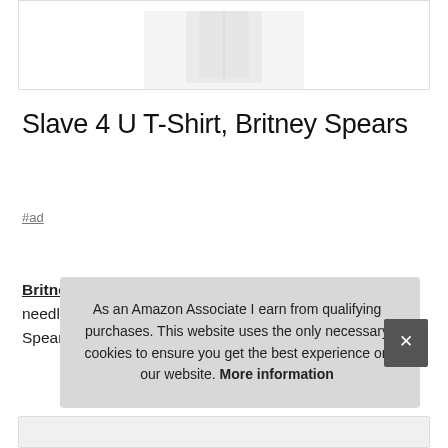[Figure (photo): Partial product image of a white t-shirt at top of page]
Slave 4 U T-Shirt, Britney Spears
#ad
Britney Spears #ad - Lightweight, classic fit, Double-needle sleeve and bottom hem. Part of the official Britney Spears Coll
As an Amazon Associate I earn from qualifying purchases. This website uses the only necessary cookies to ensure you get the best experience on our website. More information